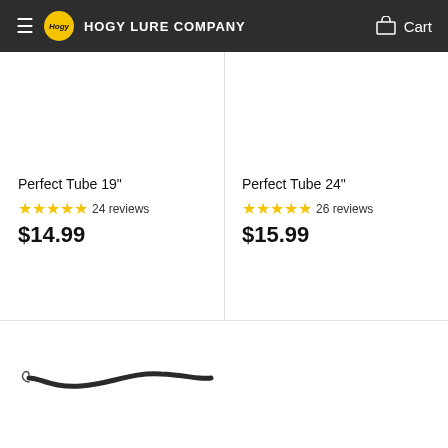HOGY LURE COMPANY  Cart
Perfect Tube 19"
★★★★★ 24 reviews
$14.99
Perfect Tube 24"
★★★★★ 26 reviews
$15.99
[Figure (photo): A dark fishing lure/worm shaped bait on a hook, curved in an S-shape, on a white background]